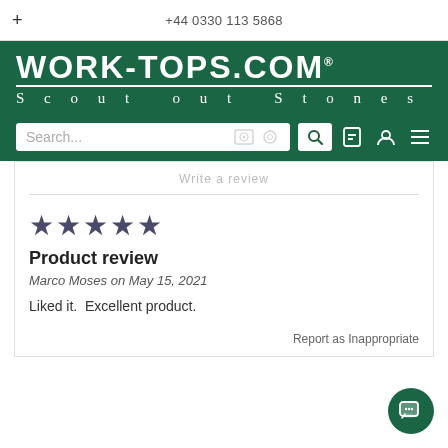+ · +44 0330 113 5868
[Figure (logo): WORK-TOPS.COM logo with tagline 'Scout out Stones' on dark green background with search bar]
Write a review
★★★★★
Product review
Marco Moses on May 15, 2021
Liked it. Excellent product.
Report as Inappropriate